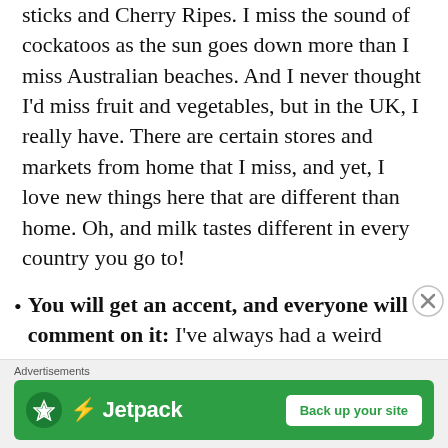sticks and Cherry Ripes. I miss the sound of cockatoos as the sun goes down more than I miss Australian beaches. And I never thought I'd miss fruit and vegetables, but in the UK, I really have. There are certain stores and markets from home that I miss, and yet, I love new things here that are different than home. Oh, and milk tastes different in every country you go to!
You will get an accent, and everyone will comment on it: I've always had a weird accent. When I started primary school, people thought I was British, and in High School, some people thought I sounded Canadian. And at that point I'd never left Australia. Now, living in London
Advertisements
[Figure (other): Jetpack advertisement banner with green background showing Jetpack logo and 'Back up your site' button]